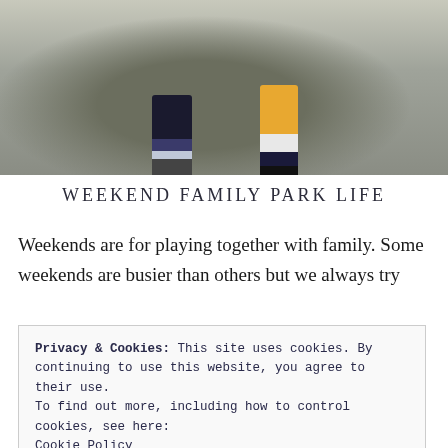[Figure (photo): Two children standing at the base of a large tree in a park/woodland setting. One child on the left wears dark clothes and sneakers, the other on the right wears a yellow coat and dark boots.]
WEEKEND FAMILY PARK LIFE
Weekends are for playing together with family. Some weekends are busier than others but we always try
Privacy & Cookies: This site uses cookies. By continuing to use this website, you agree to their use.
To find out more, including how to control cookies, see here:
Cookie Policy
Close and accept